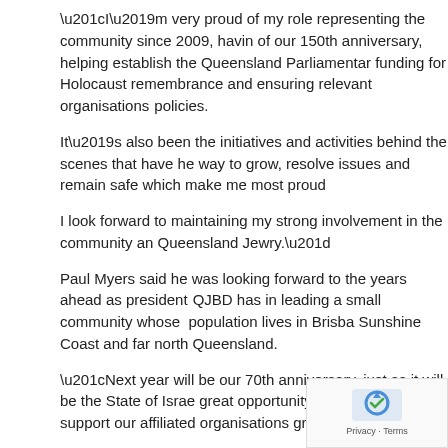“I’m very proud of my role representing the community since 2009, having of our 150th anniversary, helping establish the Queensland Parliamentary funding for Holocaust remembrance and ensuring relevant organisations policies.
It’s also been the initiatives and activities behind the scenes that have he way to grow, resolve issues and remain safe which make me most proud
I look forward to maintaining my strong involvement in the community an Queensland Jewry.”
Paul Myers said he was looking forward to the years ahead as president QJBD has in leading a small community whose population lives in Brisba Sunshine Coast and far north Queensland.
“Next year will be our 70th anniversary, just as it will be the State of Israe great opportunity to continue to support our affiliated organisations grow,
“A key focus in the coming years for me is to provide a platform and a po youth leaders to reach out into our broader community. We also have an and the Gold Coast, so there’s a lot to do to support this important group
The meeting also confirmed David Paratz as a Life Governor service to the QJBD for more than 30 years. Paratz has serv Immediate Past President and on the interfaith committee.